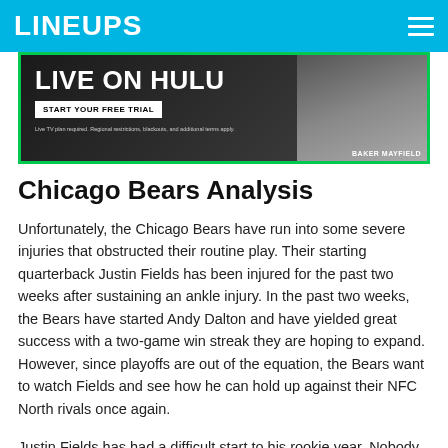LINEUPS
[Figure (photo): Hulu advertisement banner featuring Baker Mayfield. Text reads 'LIVE ON HULU' with 'START YOUR FREE TRIAL' button and fine print disclaimer. Green border on dark background.]
Chicago Bears Analysis
Unfortunately, the Chicago Bears have run into some severe injuries that obstructed their routine play. Their starting quarterback Justin Fields has been injured for the past two weeks after sustaining an ankle injury. In the past two weeks, the Bears have started Andy Dalton and have yielded great success with a two-game win streak they are hoping to expand. However, since playoffs are out of the equation, the Bears want to watch Fields and see how he can hold up against their NFC North rivals once again.
Justin Fields has had a difficult start to his rookie year. Nobody can blame him; he has been up against some of the